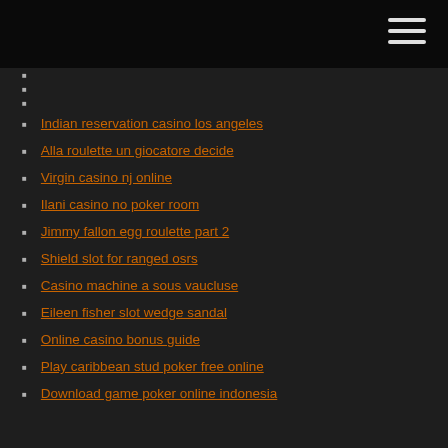Indian reservation casino los angeles
Alla roulette un giocatore decide
Virgin casino nj online
Ilani casino no poker room
Jimmy fallon egg roulette part 2
Shield slot for ranged osrs
Casino machine a sous vaucluse
Eileen fisher slot wedge sandal
Online casino bonus guide
Play caribbean stud poker free online
Download game poker online indonesia